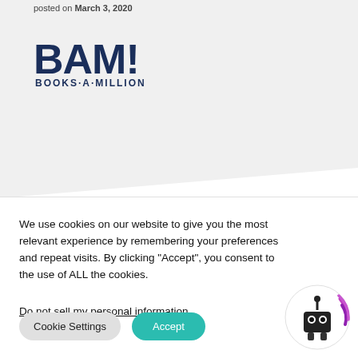posted on March 3, 2020
[Figure (logo): BAM! Books-A-Million logo in dark navy blue]
We use cookies on our website to give you the most relevant experience by remembering your preferences and repeat visits. By clicking “Accept”, you consent to the use of ALL the cookies.
Do not sell my personal information.
Cookie Settings
Accept